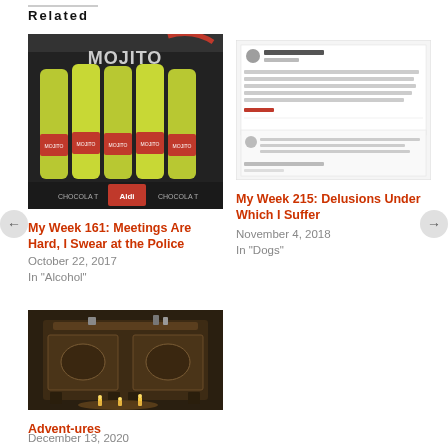Related
[Figure (photo): A case of Mojito branded bottles in a dark box, with chocolate and Aldi branding visible, green/yellow bottles]
My Week 161: Meetings Are Hard, I Swear at the Police
October 22, 2017
In "Alcohol"
[Figure (screenshot): A Facebook post screenshot showing text and comments]
My Week 215: Delusions Under Which I Suffer
November 4, 2018
In "Dogs"
[Figure (photo): A dark interior photo showing an ornate cabinet or sideboard with candles or lights at the base]
Advent-ures
December 13, 2020